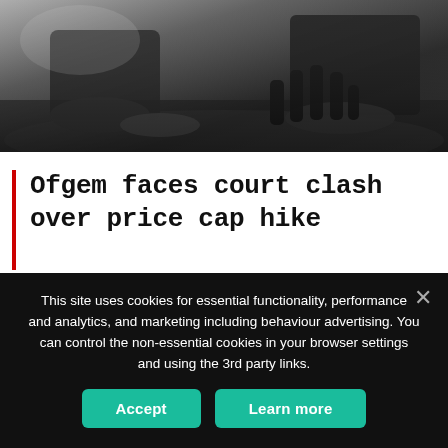[Figure (photo): Dark silhouette photo of hands on a table, business meeting setting, high contrast black and white tones]
Ofgem faces court clash over price cap hike
Ofgem has been threatened with legal action if it does not shield vulnerable customers from this autumn's price cap hike by reintroducing a social tariff for 'at-risk' groups. The Good Law Project, alongside the Fuel Poverty Action
This site uses cookies for essential functionality, performance and analytics, and marketing including behaviour advertising. You can control the non-essential cookies in your browser settings and using the 3rd party links.